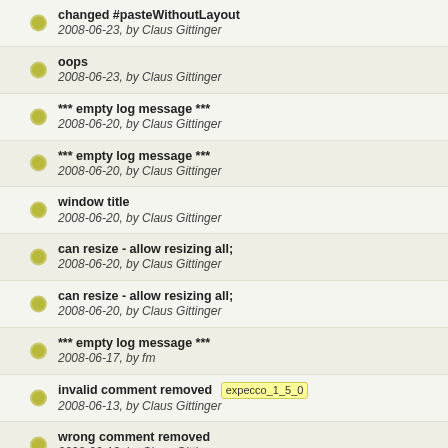changed #pasteWithoutLayout
2008-06-23, by Claus Gittinger
oops
2008-06-23, by Claus Gittinger
*** empty log message ***
2008-06-20, by Claus Gittinger
*** empty log message ***
2008-06-20, by Claus Gittinger
window title
2008-06-20, by Claus Gittinger
can resize - allow resizing all;
2008-06-20, by Claus Gittinger
can resize - allow resizing all;
2008-06-20, by Claus Gittinger
*** empty log message ***
2008-06-17, by fm
invalid comment removed [expecco_1_5_0]
2008-06-13, by Claus Gittinger
wrong comment removed
2008-06-13, by Claus Gittinger
*** empty log message ***
2008-06-13, by Claus Gittinger
clicking on an already selected object for move